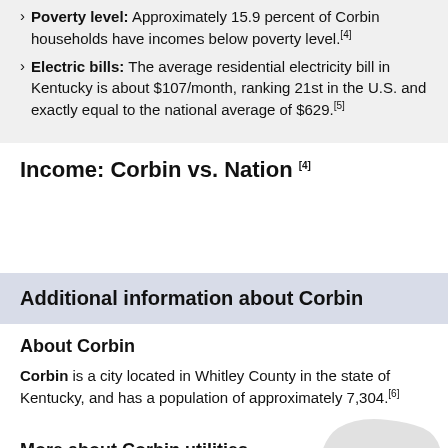Poverty level: Approximately 15.9 percent of Corbin households have incomes below poverty level.[4]
Electric bills: The average residential electricity bill in Kentucky is about $107/month, ranking 21st in the U.S. and exactly equal to the national average of $629.[5]
Income: Corbin vs. Nation [4]
[Figure (other): Income comparison chart placeholder area (Corbin vs. Nation)]
Additional information about Corbin
About Corbin
Corbin is a city located in Whitley County in the state of Kentucky, and has a population of approximately 7,304.[6]
More about Corbin utilities